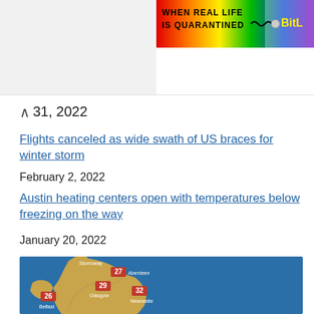[Figure (illustration): Advertisement banner with rainbow gradient background, text 'WHEN REAL LIFE IS QUARANTINED' in bold black, with BitL logo in yellow on right side]
31, 2022
Flights canceled as wide swath of US braces for winter storm
February 2, 2022
Austin heating centers open with temperatures below freezing on the way
January 20, 2022
[Figure (map): Weather map of UK and Ireland showing temperature readings: Stornoway, Aberdeen 27, Glasgow 29, Newcastle 32, Belfast 26]